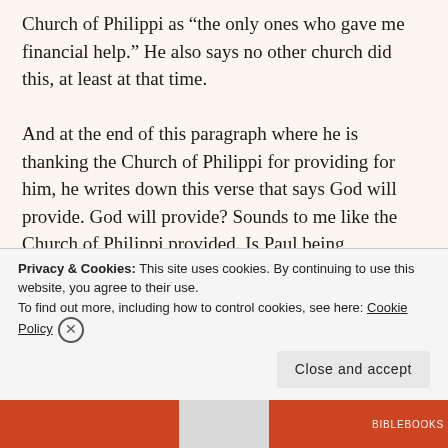Church of Philippi as “the only ones who gave me financial help.” He also says no other church did this, at least at that time.

And at the end of this paragraph where he is thanking the Church of Philippi for providing for him, he writes down this verse that says God will provide. God will provide? Sounds to me like the Church of Philippi provided. Is Paul being facetious? Is he being sarcastic about this? How can he go from saying “thank you for all the money you sent me” to “God will take care of you too” in one breath?
Privacy & Cookies: This site uses cookies. By continuing to use this website, you agree to their use.
To find out more, including how to control cookies, see here: Cookie Policy
Close and accept